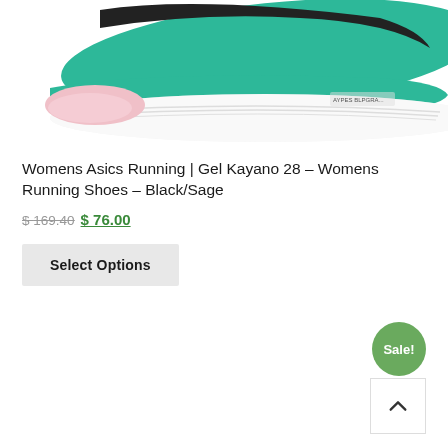[Figure (photo): Bottom/side view of a women's Asics Gel Kayano 28 running shoe in black and sage/green colorway with pink sole accents and white midsole]
Womens Asics Running | Gel Kayano 28 – Womens Running Shoes – Black/Sage
$ 169.40 $ 76.00
Select Options
Sale!